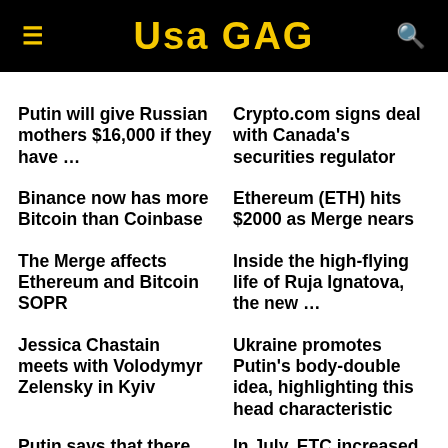USA GAG
Putin will give Russian mothers $16,000 if they have ...
Crypto.com signs deal with Canada's securities regulator
Binance now has more Bitcoin than Coinbase
Ethereum (ETH) hits $2000 as Merge nears
The Merge affects Ethereum and Bitcoin SOPR
Inside the high-flying life of Ruja Ignatova, the new ...
Jessica Chastain meets with Volodymyr Zelensky in Kyiv
Ukraine promotes Putin's body-double idea, highlighting this head characteristic
Putin says that there are 'no winners' in nuclear ...
In July, ETC increased by more than 150 percent ...